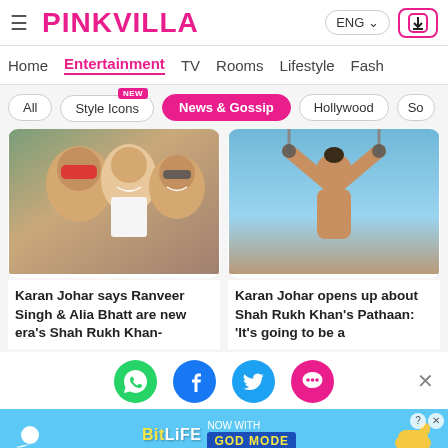PINKVILLA — ENG
Home | Entertainment | TV | Rooms | Lifestyle | Fash
All | Style Icons (NEW) | News & Gossip | Hollywood | So
[Figure (photo): Selfie photo of three people including man with red sunglasses, man in white shirt, and woman with sunglasses]
[Figure (photo): Shirtless man with arms raised holding suspension straps against blue sky]
Karan Johar says Ranveer Singh & Alia Bhatt are new era's Shah Rukh Khan-
Karan Johar opens up about Shah Rukh Khan's Pathaan: 'It's going to be a
[Figure (infographic): Social share bar with WhatsApp, Facebook, Twitter, and chat bubble icons, and an X close button]
[Figure (screenshot): BitLife advertisement banner: NOW WITH GOD MODE, with animated sperm character and pointing hand emoji on blue background]